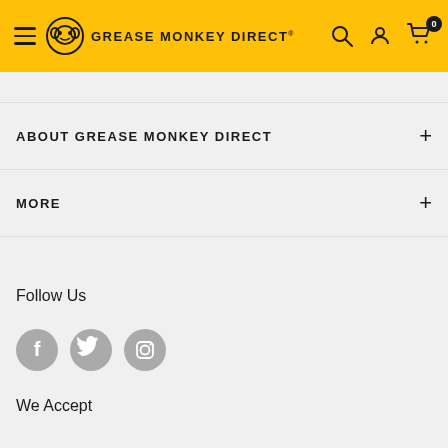GREASE MONKEY DIRECT®
ABOUT GREASE MONKEY DIRECT
MORE
Follow Us
[Figure (infographic): Social media icons: Facebook, Twitter, Instagram]
We Accept